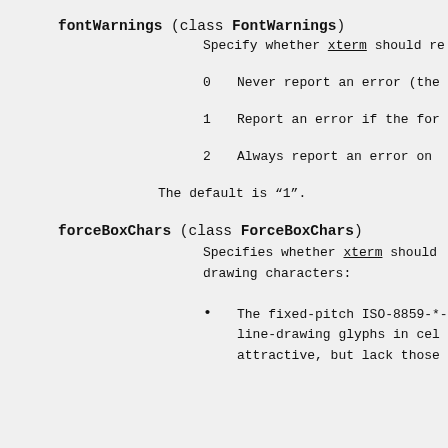fontWarnings (class FontWarnings)
Specify whether xterm should re
0    Never report an error (tho
1    Report an error if the for
2    Always report an error on
The default is “1”.
forceBoxChars (class ForceBoxChars)
Specifies whether xterm should drawing characters:
The fixed-pitch ISO-8859-*- line-drawing glyphs in cel attractive, but lack those